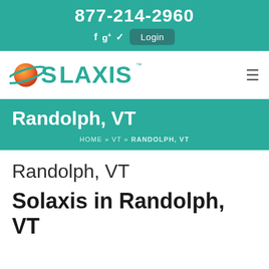877-214-2960
f  g+  ✓  Login
[Figure (logo): Solaxis logo with orange planet/ring graphic and teal SOLAXIS text with TM mark]
Randolph, VT
HOME » VT » RANDOLPH, VT
Randolph, VT
Solaxis in Randolph, VT